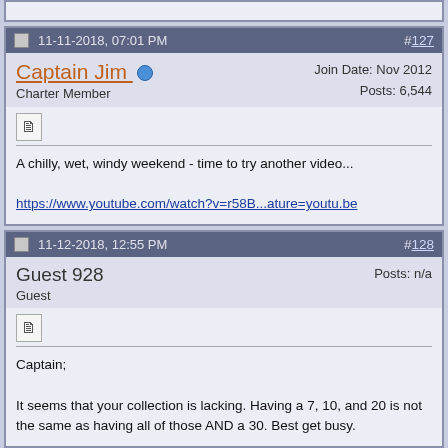Post #127 - 11-11-2018, 07:01 PM
Captain Jim | Charter Member | Join Date: Nov 2012 | Posts: 6,544
A chilly, wet, windy weekend - time to try another video...

https://www.youtube.com/watch?v=r58B...ature=youtu.be
Post #128 - 11-12-2018, 12:55 PM
Guest 928 | Guest | Posts: n/a
Captain;

It seems that your collection is lacking. Having a 7, 10, and 20 is not the same as having all of those AND a 30. Best get busy.
Post #129 - 11-12-2018, 02:00 PM
Captain Jim | Charter Member | Join Date: Nov 2012 | Posts: 6,544